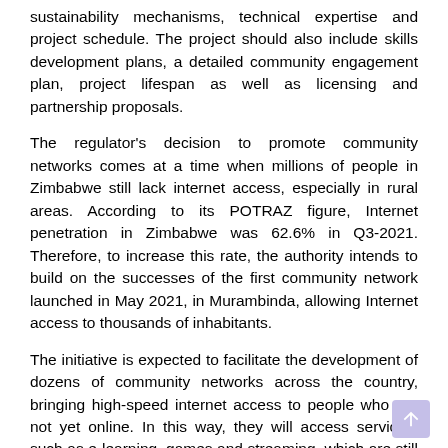sustainability mechanisms, technical expertise and project schedule. The project should also include skills development plans, a detailed community engagement plan, project lifespan as well as licensing and partnership proposals.
The regulator's decision to promote community networks comes at a time when millions of people in Zimbabwe still lack internet access, especially in rural areas. According to its POTRAZ figure, Internet penetration in Zimbabwe was 62.6% in Q3-2021. Therefore, to increase this rate, the authority intends to build on the successes of the first community network launched in May 2021, in Murambinda, allowing Internet access to thousands of inhabitants.
The initiative is expected to facilitate the development of dozens of community networks across the country, bringing high-speed internet access to people who are not yet online. In this way, they will access services, such as e-learning, games and streaming, which are still inaccessible today.